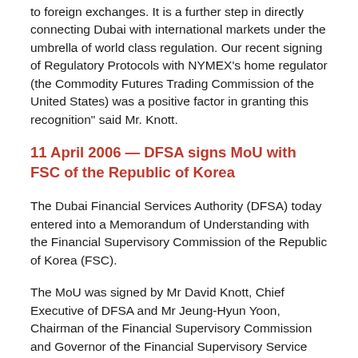to foreign exchanges. It is a further step in directly connecting Dubai with international markets under the umbrella of world class regulation. Our recent signing of Regulatory Protocols with NYMEX's home regulator (the Commodity Futures Trading Commission of the United States) was a positive factor in granting this recognition" said Mr. Knott.
11 April 2006 — DFSA signs MoU with FSC of the Republic of Korea
The Dubai Financial Services Authority (DFSA) today entered into a Memorandum of Understanding with the Financial Supervisory Commission of the Republic of Korea (FSC).
The MoU was signed by Mr David Knott, Chief Executive of DFSA and Mr Jeung-Hyun Yoon, Chairman of the Financial Supervisory Commission and Governor of the Financial Supervisory Service after a meeting in Seoul where Mr Knott is to address the FT Asian Financial Centres Summit.
The FSC has overall responsibility for financial supervision in Korea, including financial business and raising...